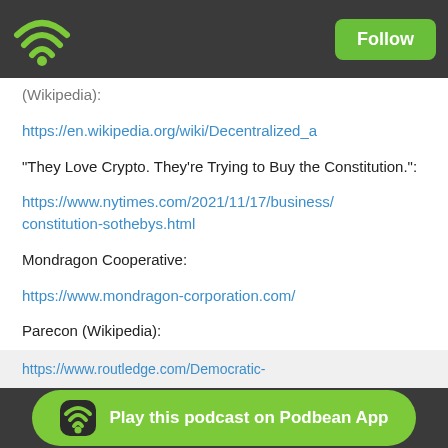Follow
(Wikipedia):
https://en.wikipedia.org/wiki/Decentralized_a
“They Love Crypto. They’re Trying to Buy the Constitution.”:
https://www.nytimes.com/2021/11/17/business/constitution-sothebys.html
Mondragon Cooperative:
https://www.mondragon-corporation.com/
Parecon (Wikipedia):
https://en.wikipedia.org/wiki/Participatory_ec
Hahnel, R. 2021. Democratic Economic
Play this podcast on Podbean App
https://www.routledge.com/Democratic-